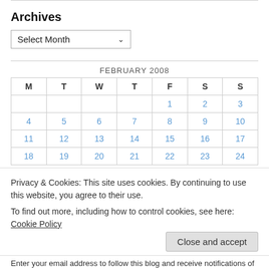Archives
Select Month
| M | T | W | T | F | S | S |
| --- | --- | --- | --- | --- | --- | --- |
|  |  |  |  | 1 | 2 | 3 |
| 4 | 5 | 6 | 7 | 8 | 9 | 10 |
| 11 | 12 | 13 | 14 | 15 | 16 | 17 |
| 18 | 19 | 20 | 21 | 22 | 23 | 24 |
Privacy & Cookies: This site uses cookies. By continuing to use this website, you agree to their use.
To find out more, including how to control cookies, see here: Cookie Policy
Close and accept
Enter your email address to follow this blog and receive notifications of